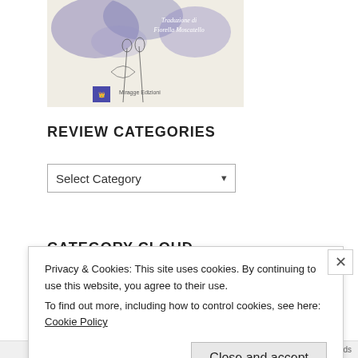[Figure (illustration): Book cover image showing watercolor purple/blue floral shapes with line-drawn figures underneath. Text reads 'Traduzione di Fiorella Moscatello' and 'Miragge Edizioni' with a small publisher logo.]
REVIEW CATEGORIES
Select Category
CATEGORY CLOUD
Privacy & Cookies: This site uses cookies. By continuing to use this website, you agree to their use.
To find out more, including how to control cookies, see here: Cookie Policy
Close and accept